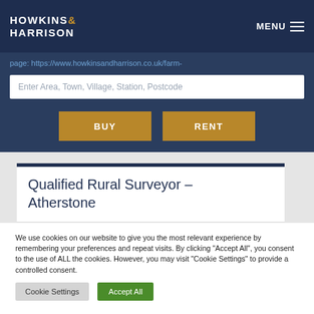HOWKINS & HARRISON  MENU
page: https://www.howkinsandharrison.co.uk/farm-
Enter Area, Town, Village, Station, Postcode
BUY
RENT
Qualified Rural Surveyor – Atherstone
We use cookies on our website to give you the most relevant experience by remembering your preferences and repeat visits. By clicking "Accept All", you consent to the use of ALL the cookies. However, you may visit "Cookie Settings" to provide a controlled consent.
Cookie Settings   Accept All